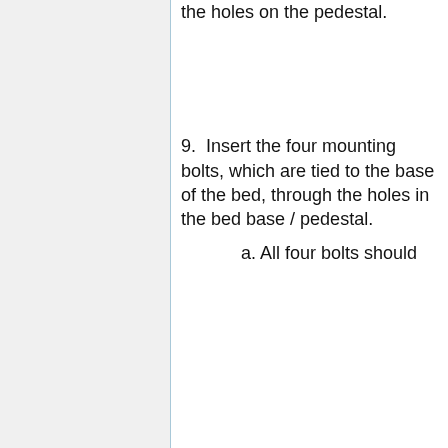the holes on the pedestal.
9.  Insert the four mounting bolts, which are tied to the base of the bed, through the holes in the bed base / pedestal.
a. All four bolts should